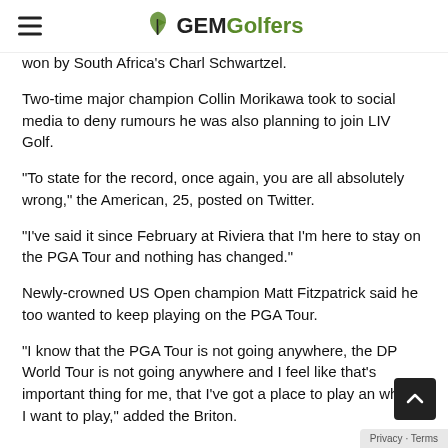GEMGolfers
won by South Africa's Charl Schwartzel.
Two-time major champion Collin Morikawa took to social media to deny rumours he was also planning to join LIV Golf.
“To state for the record, once again, you are all absolutely wrong,” the American, 25, posted on Twitter.
“I’ve said it since February at Riviera that I’m here to stay on the PGA Tour and nothing has changed.”
Newly-crowned US Open champion Matt Fitzpatrick said he too wanted to keep playing on the PGA Tour.
“I know that the PGA Tour is not going anywhere, the DP World Tour is not going anywhere and I feel like that’s important thing for me, that I’ve got a place to play and where I want to play,” added the Briton.